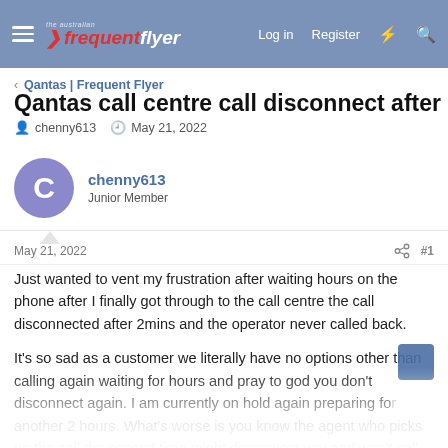the australian frequent flyer — Log in  Register
< Qantas | Frequent Flyer
Qantas call centre call disconnect after long wait
chenny613 · May 21, 2022
chenny613
Junior Member
May 21, 2022  #1
Just wanted to vent my frustration after waiting hours on the phone after I finally got through to the call centre the call disconnected after 2mins and the operator never called back.

It's so sad as a customer we literally have no options other than calling again waiting for hours and pray to god you don't disconnect again. I am currently on hold again preparing for another 2 hours. What's worse is you know the agent who picks up the call the second time might disconnect you and won't call